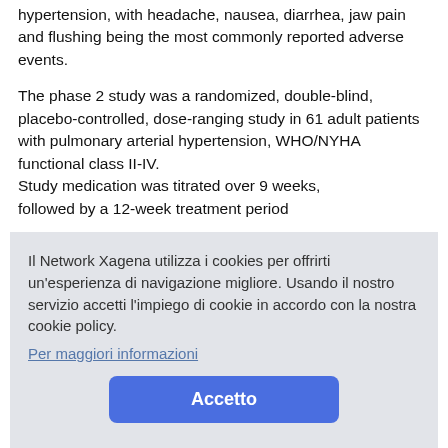hypertension, with headache, nausea, diarrhea, jaw pain and flushing being the most commonly reported adverse events.
The phase 2 study was a randomized, double-blind, placebo-controlled, dose-ranging study in 61 adult patients with pulmonary arterial hypertension, WHO/NYHA functional class II-IV. Study medication was titrated over 9 weeks, followed by a 12-week treatment period...
Il Network Xagena utilizza i cookies per offrirti un'esperienza di navigazione migliore. Usando il nostro servizio accetti l'impiego di cookie in accordo con la nostra cookie policy.
Per maggiori informazioni
Accetto